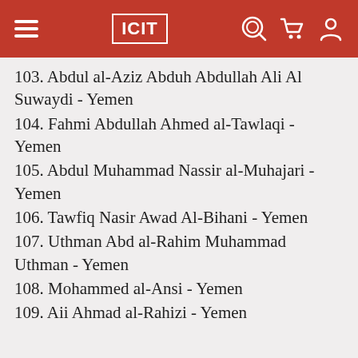ICIT
103. Abdul al-Aziz Abduh Abdullah Ali Al Suwaydi - Yemen
104. Fahmi Abdullah Ahmed al-Tawlaqi - Yemen
105. Abdul Muhammad Nassir al-Muhajari - Yemen
106. Tawfiq Nasir Awad Al-Bihani - Yemen
107. Uthman Abd al-Rahim Muhammad Uthman - Yemen
108. Mohammed al-Ansi - Yemen
109. Aii Ahmad al-Rahizi - Yemen